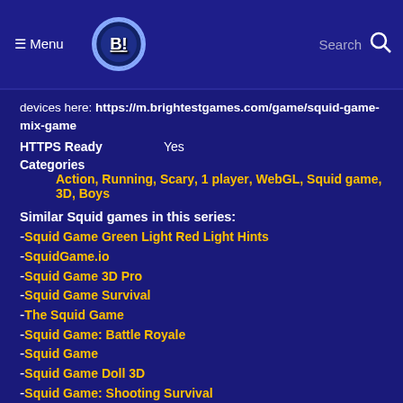≡ Menu  [Logo]  Search 🔍
devices here: https://m.brightestgames.com/game/squid-game-mix-game
HTTPS Ready    Yes
Categories    Action, Running, Scary, 1 player, WebGL, Squid game, 3D, Boys
Similar Squid games in this series:
-Squid Game Green Light Red Light Hints
-SquidGame.io
-Squid Game 3D Pro
-Squid Game Survival
-The Squid Game
-Squid Game: Battle Royale
-Squid Game
-Squid Game Doll 3D
-Squid Game: Shooting Survival
-Greenlight, Redlight
-Squidly Game 123 Stop
-Space Squid Challenge Game